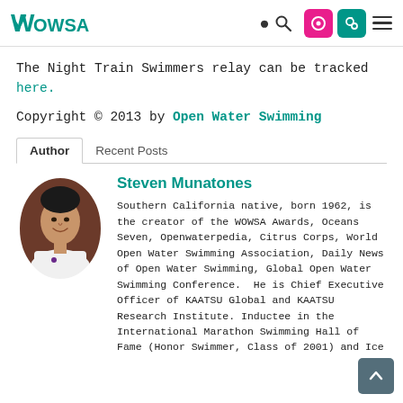WOWSA [logo] [search] [icons] [hamburger menu]
The Night Train Swimmers relay can be tracked here.
Copyright © 2013 by Open Water Swimming
Author | Recent Posts
[Figure (photo): Oval portrait photo of Steven Munatones, a man in a white shirt, smiling, against a dark reddish-brown background.]
Steven Munatones
Southern California native, born 1962, is the creator of the WOWSA Awards, Oceans Seven, Openwaterpedia, Citrus Corps, World Open Water Swimming Association, Daily News of Open Water Swimming, Global Open Water Swimming Conference. He is Chief Executive Officer of KAATSU Global and KAATSU Research Institute. Inductee in the International Marathon Swimming Hall of Fame (Honor Swimmer, Class of 2001) and Ice